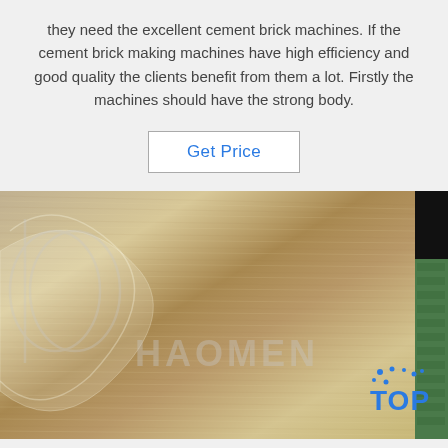they need the excellent cement brick machines. If the cement brick making machines have high efficiency and good quality the clients benefit from them a lot. Firstly the machines should have the strong body.
Get Price
[Figure (photo): Close-up photo of a brushed metal surface (steel plate) with a watermark logo reading 'HAOMEN' overlaid. The left portion shows a beige/gold brushed metal texture with a circular logo embossed. The right edge shows a dark background with a green panel and a 'TOP' badge in blue at the bottom right.]